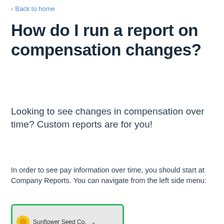Back to home
How do I run a report on compensation changes?
Looking to see changes in compensation over time? Custom reports are for you!
In order to see pay information over time, you should start at Company Reports. You can navigate from the left side menu:
[Figure (screenshot): Screenshot of a UI panel showing 'Sunflower Seed Co.' with a dropdown arrow, framed by a green border, on a light gray background.]